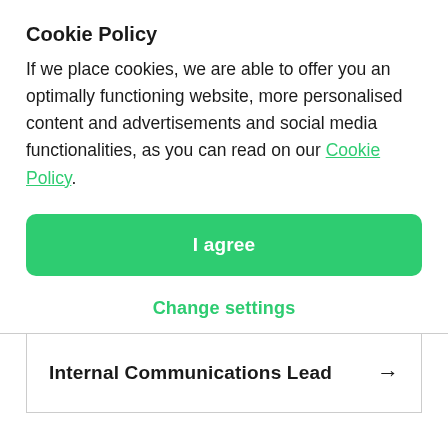Cookie Policy
If we place cookies, we are able to offer you an optimally functioning website, more personalised content and advertisements and social media functionalities, as you can read on our Cookie Policy.
I agree
Change settings
Internal Communications Lead →